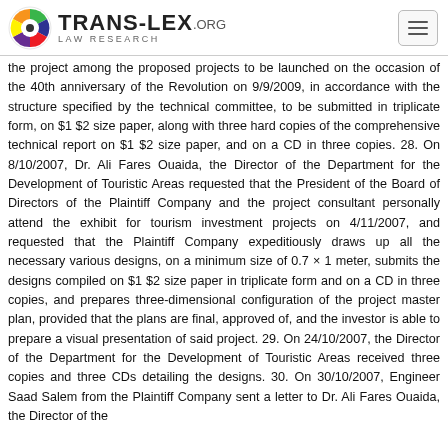TRANS-LEX.ORG LAW RESEARCH
the project among the proposed projects to be launched on the occasion of the 40th anniversary of the Revolution on 9/9/2009, in accordance with the structure specified by the technical committee, to be submitted in triplicate form, on $1 $2 size paper, along with three hard copies of the comprehensive technical report on $1 $2 size paper, and on a CD in three copies. 28. On 8/10/2007, Dr. Ali Fares Ouaida, the Director of the Department for the Development of Touristic Areas requested that the President of the Board of Directors of the Plaintiff Company and the project consultant personally attend the exhibit for tourism investment projects on 4/11/2007, and requested that the Plaintiff Company expeditiously draws up all the necessary various designs, on a minimum size of 0.7 × 1 meter, submits the designs compiled on $1 $2 size paper in triplicate form and on a CD in three copies, and prepares three-dimensional configuration of the project master plan, provided that the plans are final, approved of, and the investor is able to prepare a visual presentation of said project. 29. On 24/10/2007, the Director of the Department for the Development of Touristic Areas received three copies and three CDs detailing the designs. 30. On 30/10/2007, Engineer Saad Salem from the Plaintiff Company sent a letter to Dr. Ali Fares Ouaida, the Director of the